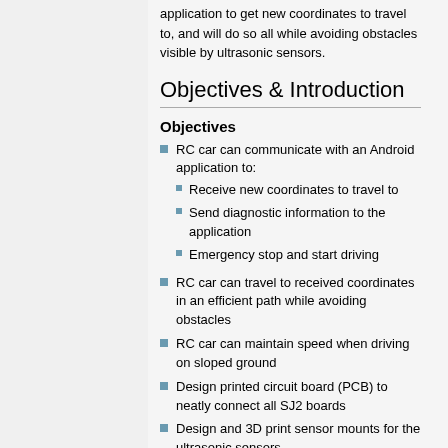application to get new coordinates to travel to, and will do so all while avoiding obstacles visible by ultrasonic sensors.
Objectives & Introduction
Objectives
RC car can communicate with an Android application to:
Receive new coordinates to travel to
Send diagnostic information to the application
Emergency stop and start driving
RC car can travel to received coordinates in an efficient path while avoiding obstacles
RC car can maintain speed when driving on sloped ground
Design printed circuit board (PCB) to neatly connect all SJ2 boards
Design and 3D print sensor mounts for the ultrasonic sensors
Design a simple and intuitive user interface for the Android application